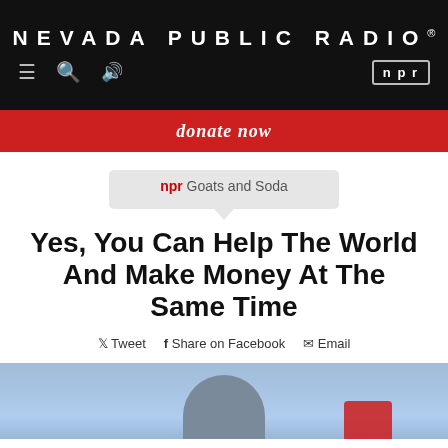NEVADA PUBLIC RADIO®
donate now
npr Goats and Soda
Yes, You Can Help The World And Make Money At The Same Time
Tweet  Share on Facebook  Email
[Figure (photo): Partial photo of a person from behind/side against a blue sky background with a red object visible at lower right]